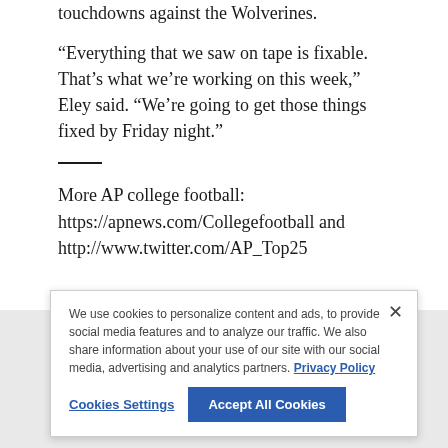touchdowns against the Wolverines.
“Everything that we saw on tape is fixable. That’s what we’re working on this week,” Eley said. “We’re going to get those things fixed by Friday night.”
More AP college football: https://apnews.com/Collegefootball and http://www.twitter.com/AP_Top25
Latest News
Florida St. runs over Notre Dame to open season
Boi Terrane
20 minutes ago
We use cookies to personalize content and ads, to provide social media features and to analyze our traffic. We also share information about your use of our site with our social media, advertising and analytics partners. Privacy Policy
Brown, DeVito lead Illinois past Wyoming 38-6 in opener